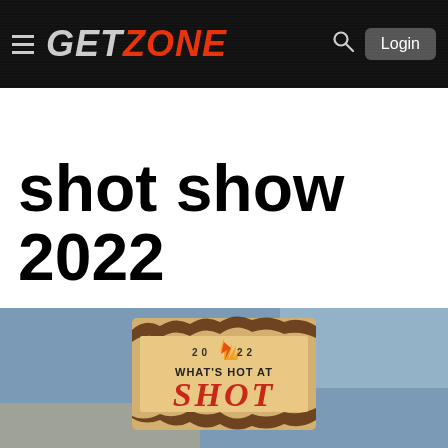GETZONE — Login
GUN REVIEWS   HUNTING   GEAR   AMMO
shot show 2022
[Figure (illustration): Parchment scroll graphic with text '2022 WHAT'S HOT AT SHOT' with flame icon, on a blue-grey background]